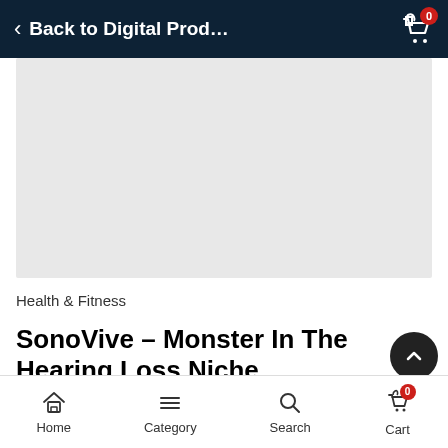Back to Digital Prod...
[Figure (photo): Product image placeholder — light gray rectangle representing a product image area]
Health & Fitness
SonoVive – Monster In The Hearing Loss Niche
Home  Category  Search  Cart